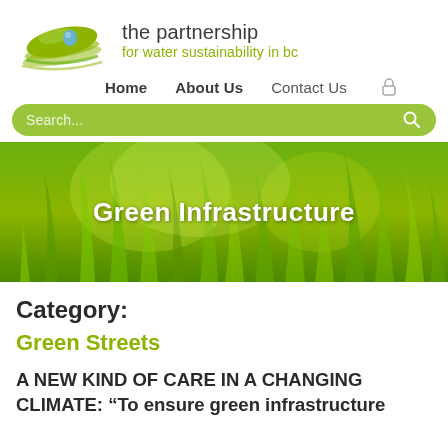[Figure (logo): The Partnership for Water Sustainability in BC logo — a green leaf with a water droplet and swoosh lines, with site name text to the right]
Home   About Us   Contact Us
[Figure (screenshot): Green rounded search bar with 'Search...' placeholder text and a search icon on the right]
[Figure (photo): Hero banner photo of green grass with 'Green Infrastructure' text overlay]
Category:
Green Streets
A NEW KIND OF CARE IN A CHANGING CLIMATE: “To ensure green infrastructure